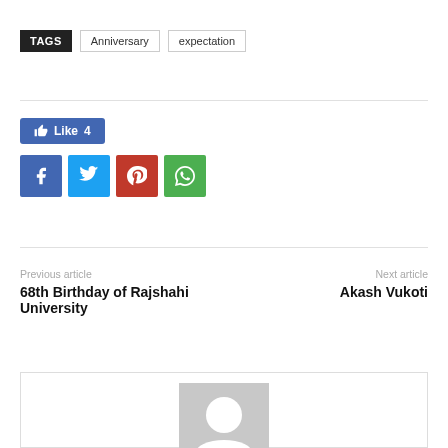TAGS   Anniversary   expectation
[Figure (screenshot): Social sharing buttons: Facebook Like (4), Facebook, Twitter, Pinterest, WhatsApp]
Previous article
68th Birthday of Rajshahi University
Next article
Akash Vukoti
[Figure (photo): Author avatar placeholder — grey box with white silhouette]